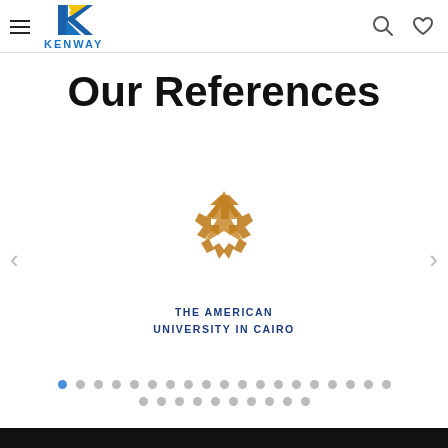KENWAY
Our References
[Figure (logo): The American University in Cairo logo — a gold/amber colored geometric star-like emblem made of interlocking angular arrow shapes, with text below reading THE AMERICAN UNIVERSITY IN CAIRO in dark navy blue uppercase letters]